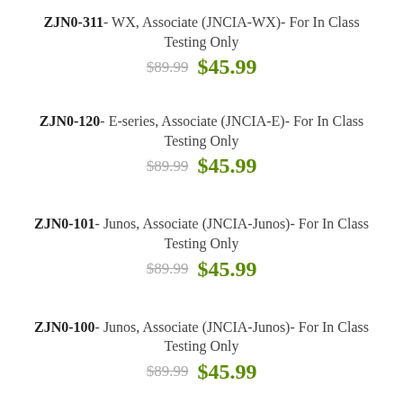ZJN0-311- WX, Associate (JNCIA-WX)- For In Class Testing Only
$89.99  $45.99
ZJN0-120- E-series, Associate (JNCIA-E)- For In Class Testing Only
$89.99  $45.99
ZJN0-101- Junos, Associate (JNCIA-Junos)- For In Class Testing Only
$89.99  $45.99
ZJN0-100- Junos, Associate (JNCIA-Junos)- For In Class Testing Only
$89.99  $45.99